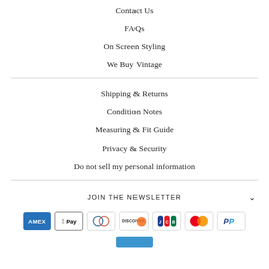Contact Us
FAQs
On Screen Styling
We Buy Vintage
Shipping & Returns
Condition Notes
Measuring & Fit Guide
Privacy & Security
Do not sell my personal information
JOIN THE NEWSLETTER
[Figure (other): Payment method icons: American Express, Apple Pay, Diners Club, Discover, JCB, Mastercard, PayPal, and a partially visible Venmo logo at the bottom]